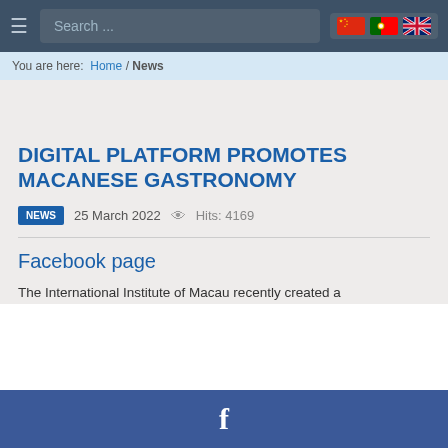≡  Search ...  [Chinese flag] [Portuguese flag] [UK flag]
You are here: Home / News
DIGITAL PLATFORM PROMOTES MACANESE GASTRONOMY
NEWS  25 March 2022  👁 Hits: 4169
Facebook page
The International Institute of Macau recently created a
f